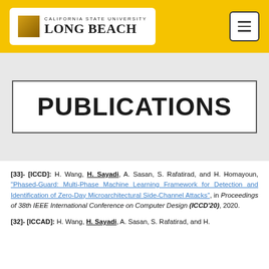CALIFORNIA STATE UNIVERSITY LONG BEACH
PUBLICATIONS
[33]- [ICCD]: H. Wang, H. Sayadi, A. Sasan, S. Rafatirad, and H. Homayoun, "Phased-Guard: Multi-Phase Machine Learning Framework for Detection and Identification of Zero-Day Microarchitectural Side-Channel Attacks", in Proceedings of 38th IEEE International Conference on Computer Design (ICCD'20), 2020.
[32]- [ICCAD]: H. Wang, H. Sayadi, A. Sasan, S. Rafatirad, and H.